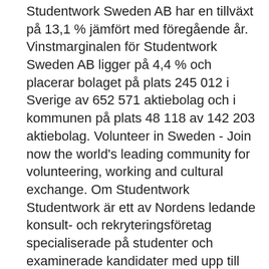Studentwork Sweden AB har en tillväxt på 13,1 % jämfört med föregående år. Vinstmarginalen för Studentwork Sweden AB ligger på 4,4 % och placerar bolaget på plats 245 012 i Sverige av 652 571 aktiebolag och i kommunen på plats 48 118 av 142 203 aktiebolag. Volunteer in Sweden - Join now the world's leading community for volunteering, working and cultural exchange. Om Studentwork Studentwork är ett av Nordens ledande konsult- och rekryteringsföretag specialiserade på studenter och examinerade kandidater med upp till fem års erfarenhet. Vi är verksamma inom ekonomi, försäljning, marknadsföring, teknik och administration. Om Studentwork Studentwork är ett av Nordens ledande konsult- och rekryteringsföretag specialiserade på studenter och examinerade kandidater med upp till fem års